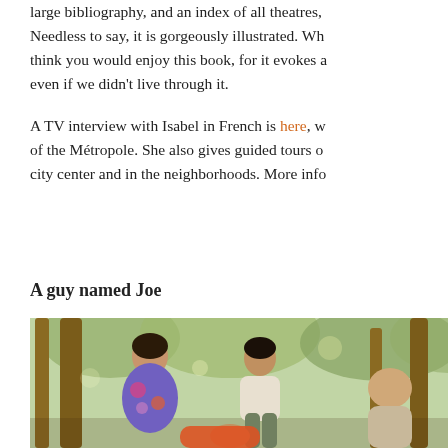large bibliography, and an index of all theatres. Needless to say, it is gorgeously illustrated. Wh think you would enjoy this book, for it evokes a even if we didn't live through it.
A TV interview with Isabel in French is here, w of the Métropole. She also gives guided tours o city center and in the neighborhoods. More info
A guy named Joe
[Figure (photo): Outdoor scene under trees with several people. A woman in a floral top on the left, a young man in a light shirt seated center, a child resting their head in someone's lap in the foreground, and another figure on the right.]